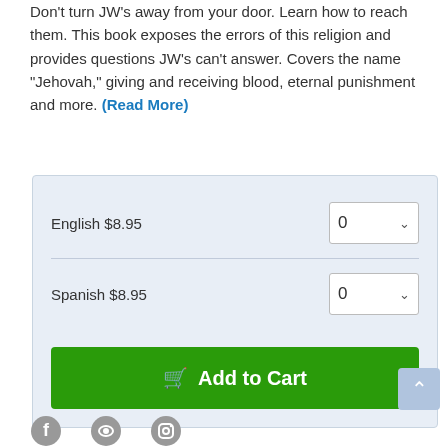Don't turn JW's away from your door. Learn how to reach them. This book exposes the errors of this religion and provides questions JW's can't answer. Covers the name "Jehovah," giving and receiving blood, eternal punishment and more. (Read More)
| Product | Quantity |
| --- | --- |
| English $8.95 | 0 |
| Spanish $8.95 | 0 |
Add to Cart